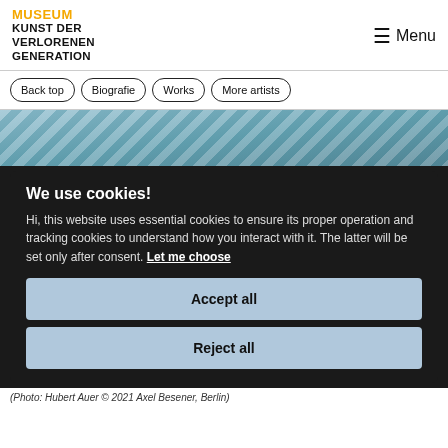MUSEUM KUNST DER VERLORENEN GENERATION
Menu
Back top | Biografie | Works | More artists
[Figure (photo): Artwork photograph with teal/blue abstract painting]
We use cookies!
Hi, this website uses essential cookies to ensure its proper operation and tracking cookies to understand how you interact with it. The latter will be set only after consent. Let me choose
Accept all
Reject all
(Photo: Hubert Auer © 2021 Axel Besener, Berlin)